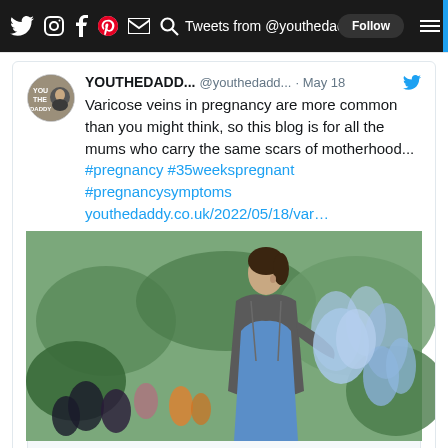Tweets from @youthedaddy
YOUTHEDADD... @youthedadd... · May 18 — Varicose veins in pregnancy are more common than you might think, so this blog is for all the mums who carry the same scars of motherhood... #pregnancy #35weekspregnant #pregnancysymptoms youthedaddy.co.uk/2022/05/18/var…
[Figure (photo): Pregnant woman in a blue dress and grey cardigan standing in a garden with colorful flowers]
youthedaddy.co.uk — Varicose veins – the pregnancy symptom